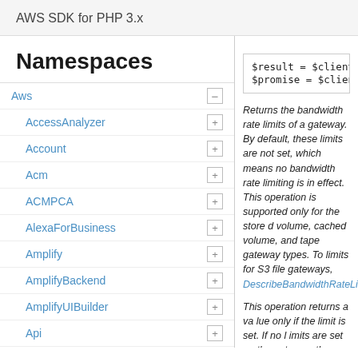AWS SDK for PHP 3.x
Namespaces
Aws
AccessAnalyzer
Account
Acm
ACMPCA
AlexaForBusiness
Amplify
AmplifyBackend
AmplifyUIBuilder
Api
ApiGateway
ApiGatewayManagementApi
$result = $client
$promise = $clien
Returns the bandwidth rate limits of a gateway. By default, these limits are not set, which means no bandwidth rate limiting is in effect. This operation is supported only for the stored volume, cached volume, and tape gateway types. To specify which gateway to describe the bandwidth rate limits for S3 file gateways, use the DescribeBandwidthRateLim...
This operation returns a value only if the limit is set. If no limits are set on the gateway, then this operation returns only an empty response body. To specify which gateway to use the Amazon Resource in your request.
Parameter Synt...